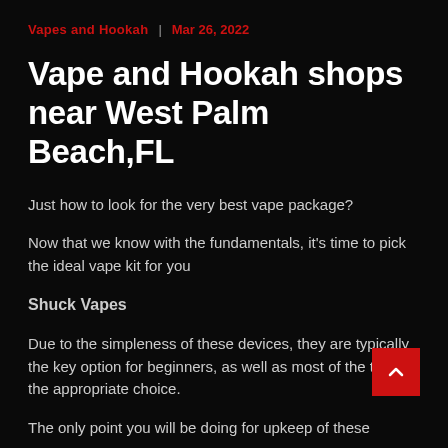Vapes and Hookah  |  Mar 26, 2022
Vape and Hookah shops near West Palm Beach,FL
Just how to look for the very best vape package?
Now that we know with the fundamentals, it's time to pick the ideal vape kit for you
Shuck Vapes
Due to the simpleness of these devices, they are typically the key option for beginners, as well as most of the time the appropriate choice.
The only point you will be doing for upkeep of these